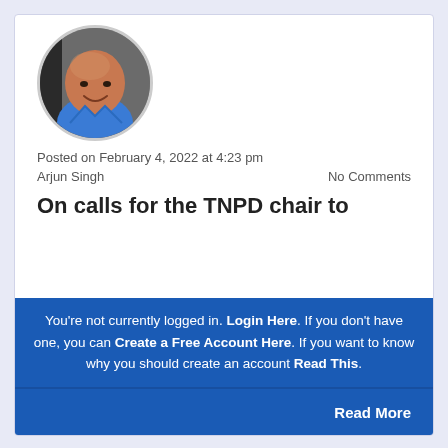[Figure (photo): Circular avatar photo of a middle-aged bald man wearing a blue shirt, smiling, against a grey background.]
Posted on February 4, 2022 at 4:23 pm
Arjun Singh   No Comments
On calls for the TNPD chair to
You're not currently logged in. Login Here. If you don't have one, you can Create a Free Account Here. If you want to know why you should create an account Read This.
Read More